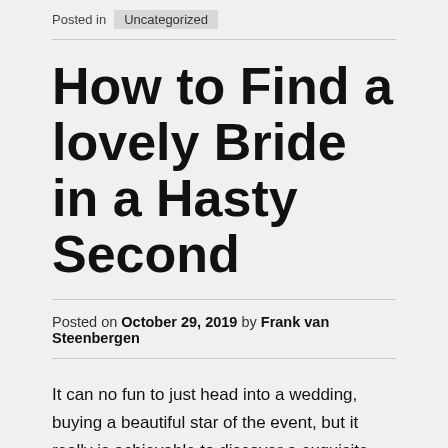Posted in Uncategorized
How to Find a lovely Bride in a Hasty Second
Posted on October 29, 2019 by Frank van Steenbergen
It can no fun to just head into a wedding, buying a beautiful star of the event, but it really is achievable to discover a exquisite bride in most locations. Among the best spots to find brides to be are at the courtyards, house of worship occasions, local incidents, antique revenue, neighborhood flea market segments, vintage